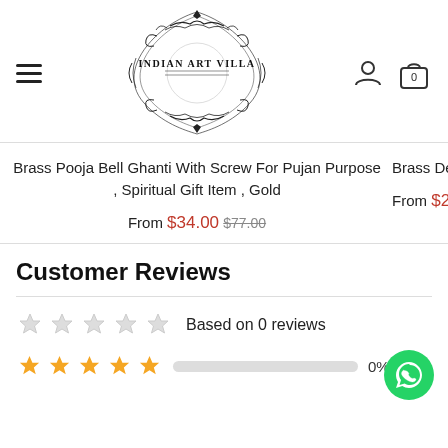[Figure (logo): Indian Art Villa ornate logo with decorative scrollwork border and text INDIAN ART VILLA]
Brass Pooja Bell Ghanti With Screw For Pujan Purpose , Spiritual Gift Item , Gold
From $34.00 $77.00
Brass Designer Dhaal Talwar Ha...
From $2...
Customer Reviews
Based on 0 reviews
0% (0)